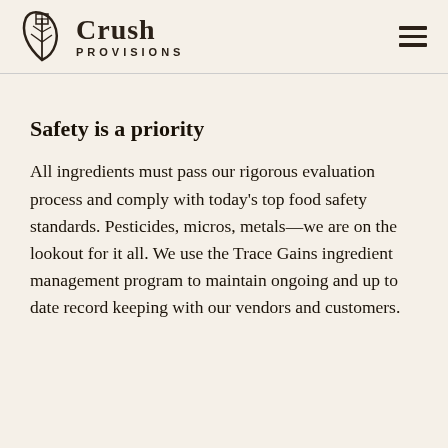[Figure (logo): Crush Provisions logo with leaf/grain icon and text 'Crush PROVISIONS']
Safety is a priority
All ingredients must pass our rigorous evaluation process and comply with today's top food safety standards. Pesticides, micros, metals—we are on the lookout for it all. We use the Trace Gains ingredient management program to maintain ongoing and up to date record keeping with our vendors and customers.